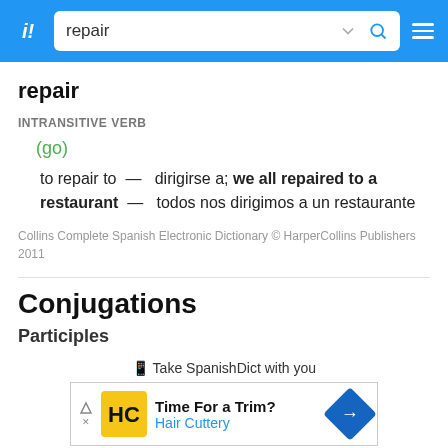repair
repair
INTRANSITIVE VERB
(go)
to repair to — dirigirse a; we all repaired to a restaurant — todos nos dirigimos a un restaurante
Collins Complete Spanish Electronic Dictionary © HarperCollins Publishers 2011
Conjugations
Participles
📱 Take SpanishDict with you
[Figure (other): Advertisement banner for Hair Cuttery: Time For a Trim? Hair Cuttery]